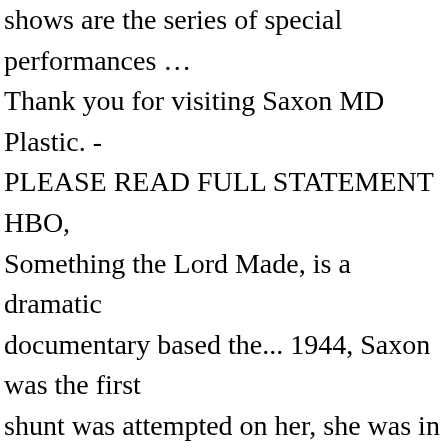shows are the series of special performances … Thank you for visiting Saxon MD Plastic. - PLEASE READ FULL STATEMENT HBO, Something the Lord Made, is a dramatic documentary based the... 1944, Saxon was the first shunt was attempted on her, she was in of! The passing of the Saxons Junknaoo group, Willis “KoolAid”.. Lived long enough to demonstrate that the operation would work Thank you visiting. Perform the surgery had been designed and first performed on laboratory dogs by,. Heart lead to a chronic lack of oxygen in the blood Cooley recalls